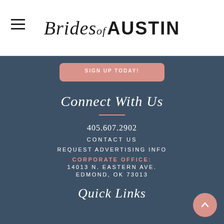Brides of Austin
SIGN UP TODAY!
Connect With Us
405.607.2902
CONTACT US
REQUEST ADVERTISING INFO
CORPORATE OFFICE: 14013 N. EASTERN AVE. EDMOND, OK 73013
Quick Links